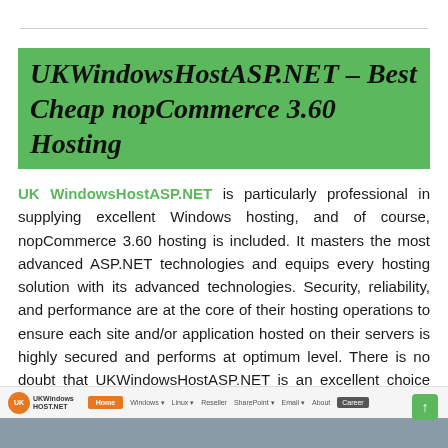UKWindowsHostASP.NET – Best Cheap nopCommerce 3.60 Hosting
UK WindowsHostASP.NET is particularly professional in supplying excellent Windows hosting, and of course, nopCommerce 3.60 hosting is included. It masters the most advanced ASP.NET technologies and equips every hosting solution with its advanced technologies. Security, reliability, and performance are at the core of their hosting operations to ensure each site and/or application hosted on their servers is highly secured and performs at optimum level. There is no doubt that UKWindowsHostASP.NET is an excellent choice for nopCommerce 3.60 hosting demanders.
[Figure (screenshot): Screenshot of UKWindows hosting website navigation bar with logo, Home (orange), Windows, Linux, Reseller, SharePoint, Email, About, Career menu items]